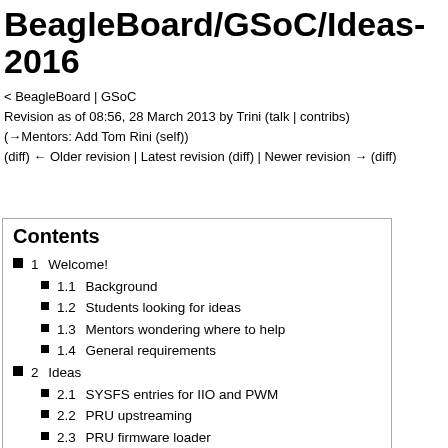BeagleBoard/GSoC/Ideas-2016
< BeagleBoard | GSoC
Revision as of 08:56, 28 March 2013 by Trini (talk | contribs)
(→Mentors: Add Tom Rini (self))
(diff) ← Older revision | Latest revision (diff) | Newer revision → (diff)
Contents
1  Welcome!
1.1  Background
1.2  Students looking for ideas
1.3  Mentors wondering where to help
1.4  General requirements
2  Ideas
2.1  SYSFS entries for IIO and PWM
2.2  PRU upstreaming
2.3  PRU firmware loader